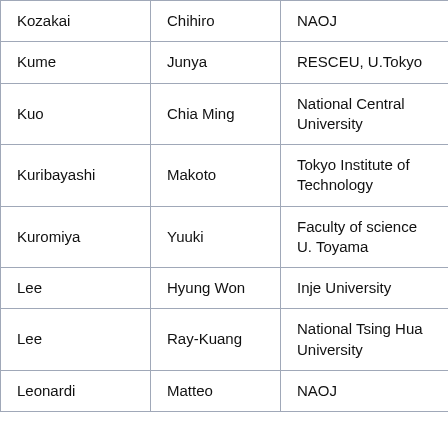| Kozakai | Chihiro | NAOJ |
| Kume | Junya | RESCEU, U.Tokyo |
| Kuo | Chia Ming | National Central University |
| Kuribayashi | Makoto | Tokyo Institute of Technology |
| Kuromiya | Yuuki | Faculty of science U. Toyama |
| Lee | Hyung Won | Inje University |
| Lee | Ray-Kuang | National Tsing Hua University |
| Leonardi | Matteo | NAOJ |